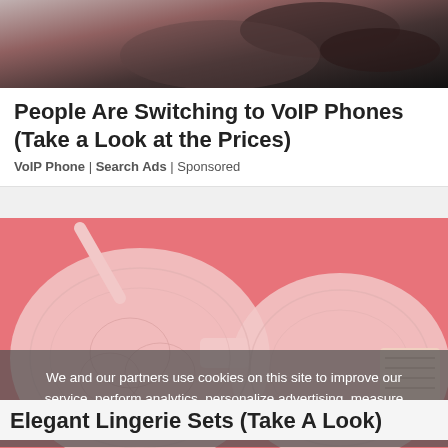[Figure (photo): Dark blurred photo at the top, appears to show a hand or person in low light]
People Are Switching to VoIP Phones (Take a Look at the Prices)
VoIP Phone | Search Ads | Sponsored
[Figure (photo): Pink/coral lingerie bra with lace detail on pink background]
We and our partners use cookies on this site to improve our service, perform analytics, personalize advertising, measure advertising performance, and remember website preferences.
Elegant Lingerie Sets (Take A Look)